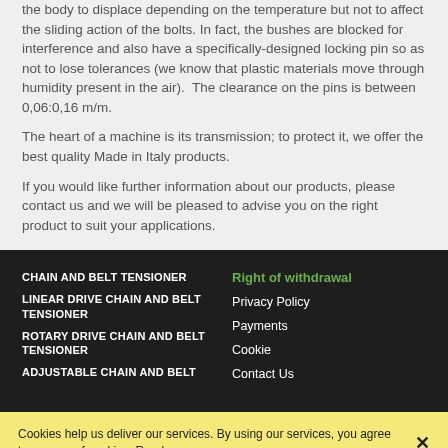the body to displace depending on the temperature but not to affect the sliding action of the bolts. In fact, the bushes are blocked for interference and also have a specifically-designed locking pin so as not to lose tolerances (we know that plastic materials move through humidity present in the air).  The clearance on the pins is between 0,06:0,16 m/m.
The heart of a machine is its transmission; to protect it, we offer the best quality Made in Italy products.
If you would like further information about our products, please contact us and we will be pleased to advise you on the right product to suit your applications.
CHAIN AND BELT TENSIONER | LINEAR DRIVE CHAIN AND BELT TENSIONER | ROTARY DRIVE CHAIN AND BELT TENSIONER | ADJUSTABLE CHAIN AND BELT | Right of withdrawal | Privacy Policy | Payments | Cookie | Contact Us
Cookies help us deliver our services. By using our services, you agree to our use of cookies. Read more ✕